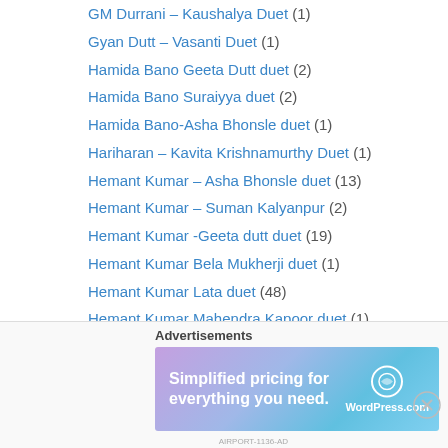GM Durrani – Kaushalya Duet (1)
Gyan Dutt – Vasanti Duet (1)
Hamida Bano Geeta Dutt duet (2)
Hamida Bano Suraiyya duet (2)
Hamida Bano-Asha Bhonsle duet (1)
Hariharan – Kavita Krishnamurthy Duet (1)
Hemant Kumar – Asha Bhonsle duet (13)
Hemant Kumar – Suman Kalyanpur (2)
Hemant Kumar -Geeta dutt duet (19)
Hemant Kumar Bela Mukherji duet (1)
Hemant Kumar Lata duet (48)
Hemant Kumar Mahendra Kapoor duet (1)
Hemant Kumar Rafi duet (1)
Hemant Kumar Sandhya Mukherji duet (1)
Ishwarlal – Kaushalya Duet (1)
Jagjit Kaur-Sulakshana Pandit duet (1)
Advertisements
[Figure (infographic): WordPress.com advertisement banner: 'Simplified pricing for everything you need.' with WordPress.com logo]